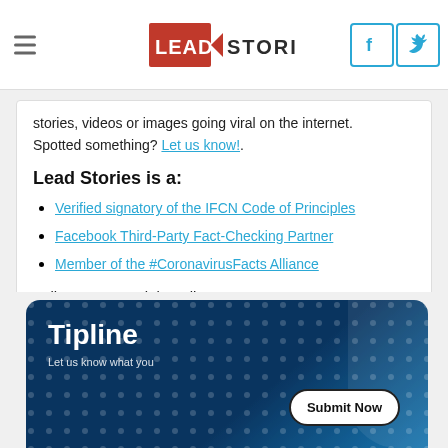Lead Stories — navigation header with logo, hamburger menu, Facebook and Twitter icons
stories, videos or images going viral on the internet. Spotted something? Let us know!.
Lead Stories is a:
Verified signatory of the IFCN Code of Principles
Facebook Third-Party Fact-Checking Partner
Member of the #CoronavirusFacts Alliance
Follow us on social media
[Figure (infographic): Row of 5 social media circle icons: Facebook (gray), Twitter (blue), YouTube (red), RSS (orange), Reddit (orange-red)]
[Figure (infographic): Tipline banner with dark blue background and dot pattern. Title: Tipline. Subtitle: Let us know what you. Button: Submit Now]